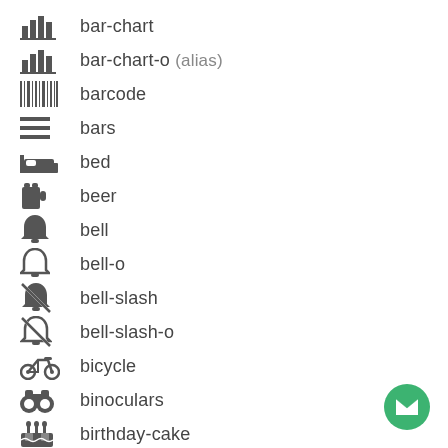bar-chart
bar-chart-o (alias)
barcode
bars
bed
beer
bell
bell-o
bell-slash
bell-slash-o
bicycle
binoculars
birthday-cake
bolt